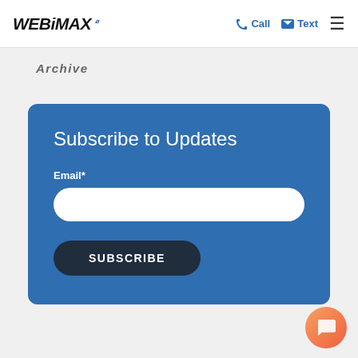WEBIMAX | Call | Text | menu
Archive
Subscribe to Updates
Email*
[Figure (screenshot): Email subscription form with a white rounded input field and a dark SUBSCRIBE button on a blue card background]